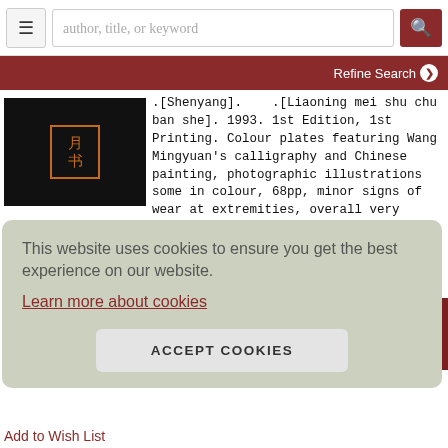author, title, or keyword [search bar] [hamburger menu] [search button]
Refine Search
[Figure (photo): Book cover with black background and orange Chinese characters in a bordered box]
.[Shenyang]. .[Liaoning mei shu chu ban she]. 1993. 1st Edition, 1st Printing. Colour plates featuring Wang Mingyuan's calligraphy and Chinese painting, photographic illustrations some in colour, 68pp, minor signs of wear at extremities, overall very good. Text in traditional Chinese and English. 35.6 x 25.1cm. Wang Mingyuan (1951 - )..... More >
This website uses cookies to ensure you get the best experience on our website.
Learn more about cookies
ACCEPT COOKIES
Add to Wish List